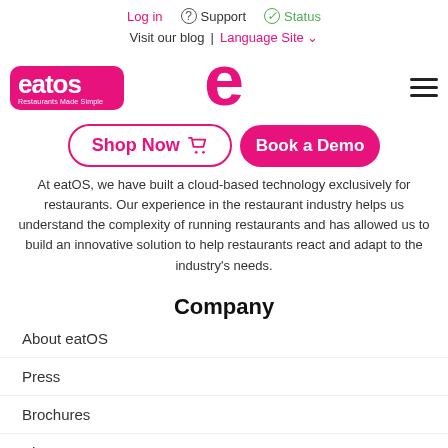Log in | Support | Status | Visit our blog | Language Site
[Figure (logo): eatOS logo - pink rounded rectangle with 'eatos' text and 'Restaurants Made Simple' tagline, plus a pink stylized 'e' letter icon in the center]
Shop Now  Book a Demo
At eatOS, we have built a cloud-based technology exclusively for restaurants. Our experience in the restaurant industry helps us understand the complexity of running restaurants and has allowed us to build an innovative solution to help restaurants react and adapt to the industry's needs.
Company
About eatOS
Press
Brochures
Blog